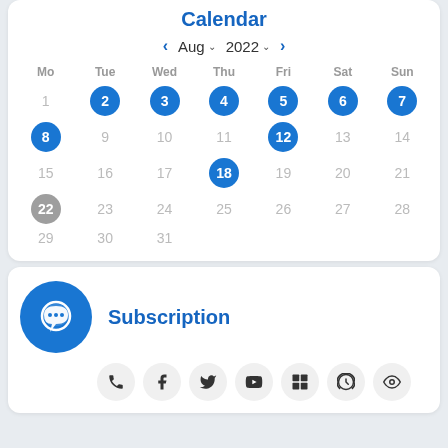Calendar
[Figure (other): Interactive calendar widget showing August 2022. Navigation arrows on left and right. Day headers: Mo, Tue, Wed, Thu, Fri, Sat, Sun. Highlighted blue circle dates: 2,3,4,5,6,7,8,12,18. Gray circle: 22. Plain/faded dates for remaining days.]
Subscription
[Figure (other): Blue circular icon with chat/messaging bubble and three dots. Below it a row of social media icon buttons: phone, Facebook, Twitter, YouTube, Flickr, Viber, eye/visibility icon.]